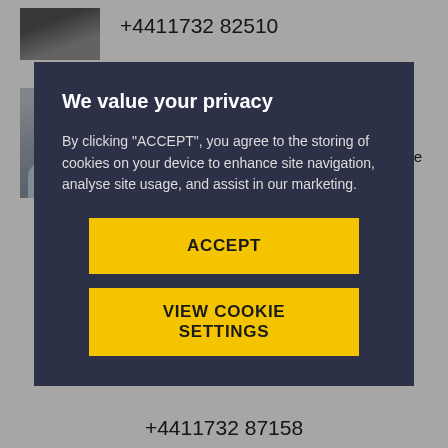+4411732 82510
[Figure (photo): Profile photo of a person in dark clothing]
Artjoms Ivlevs
Professor - Economics
FBL - Accounting, Economics and Finance
We value your privacy
By clicking “ACCEPT”, you agree to the storing of cookies on your device to enhance site navigation, analyse site usage, and assist in our marketing.
ACCEPT
VIEW COOKIE SETTINGS
+4411732 87158